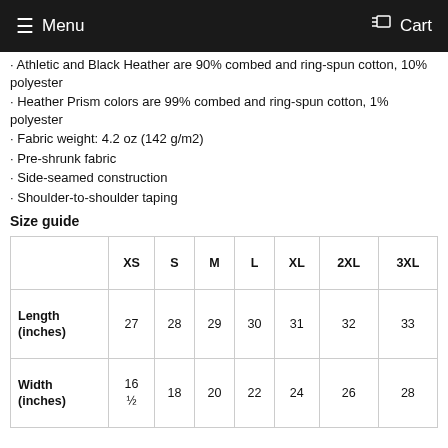Menu  Cart
Athletic and Black Heather are 90% combed and ring-spun cotton, 10% polyester
Heather Prism colors are 99% combed and ring-spun cotton, 1% polyester
Fabric weight: 4.2 oz (142 g/m2)
Pre-shrunk fabric
Side-seamed construction
Shoulder-to-shoulder taping
Size guide
|  | XS | S | M | L | XL | 2XL | 3XL |
| --- | --- | --- | --- | --- | --- | --- | --- |
| Length (inches) | 27 | 28 | 29 | 30 | 31 | 32 | 33 |
| Width (inches) | 16 ½ | 18 | 20 | 22 | 24 | 26 | 28 |